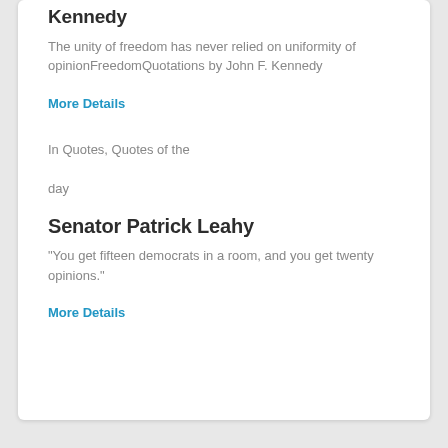Kennedy
The unity of freedom has never relied on uniformity of opinionFreedomQuotations by John F. Kennedy
More Details
In Quotes, Quotes of the day
Senator Patrick Leahy
"You get fifteen democrats in a room, and you get twenty opinions."
More Details